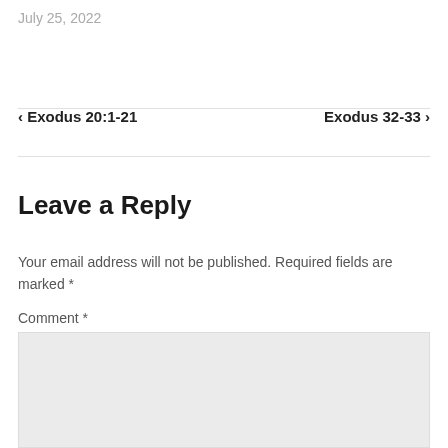July 25, 2022
‹ Exodus 20:1-21    Exodus 32-33 ›
Leave a Reply
Your email address will not be published. Required fields are marked *
Comment *